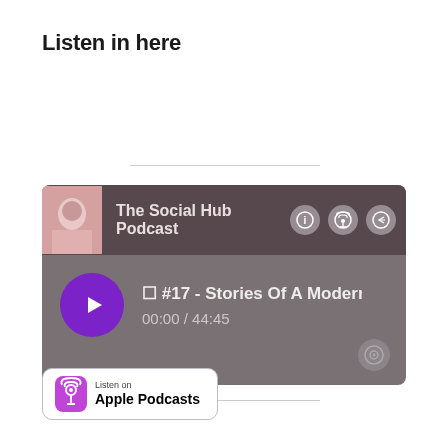Listen in here
[Figure (screenshot): A podcast player widget showing 'The Social Hub Podcast' with episode '#17 - Stories Of A Modern Da' and timestamp '00:00 / 44:45', featuring a purple play button, podcast artwork, and control icons on a dark gray background.]
[Figure (logo): Listen on Apple Podcasts badge with podcast icon]